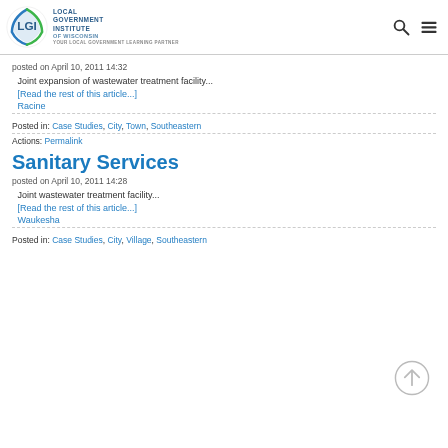Local Government Institute of Wisconsin
posted on April 10, 2011 14:32
Joint expansion of wastewater treatment facility...
[Read the rest of this article...]
Racine
Posted in: Case Studies, City, Town, Southeastern
Actions: Permalink
Sanitary Services
posted on April 10, 2011 14:28
Joint wastewater treatment facility...
[Read the rest of this article...]
Waukesha
Posted in: Case Studies, City, Village, Southeastern